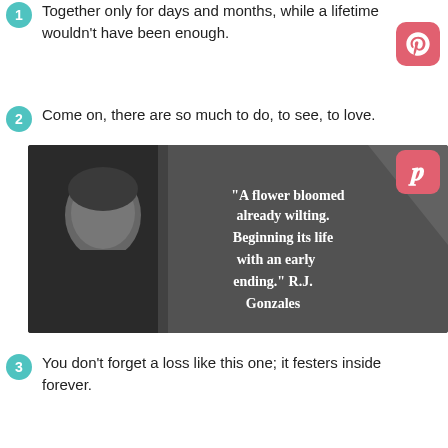Together only for days and months, while a lifetime wouldn't have been enough.
Come on, there are so much to do, to see, to love.
[Figure (photo): Black and white photo of a person looking pensive with an overlaid quote: "A flower bloomed already wilting. Beginning its life with an early ending." R.J. Gonzales. Pinterest icon in top right corner.]
You don't forget a loss like this one; it festers inside forever.